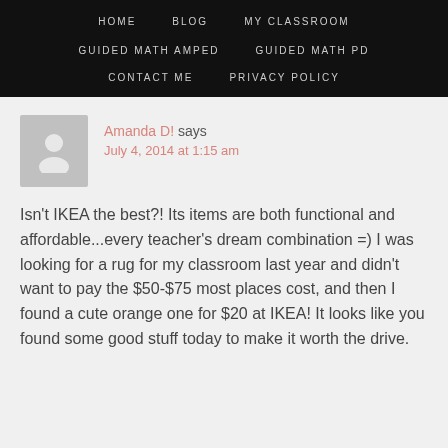HOME   BLOG   MY CLASSROOM   GUIDED MATH AMPED   GUIDED MATH PD   CONTACT ME   PRIVACY POLICY
Amanda D! says
July 4, 2014 at 1:15 am
Isn't IKEA the best?! Its items are both functional and affordable...every teacher's dream combination =) I was looking for a rug for my classroom last year and didn't want to pay the $50-$75 most places cost, and then I found a cute orange one for $20 at IKEA! It looks like you found some good stuff today to make it worth the drive.